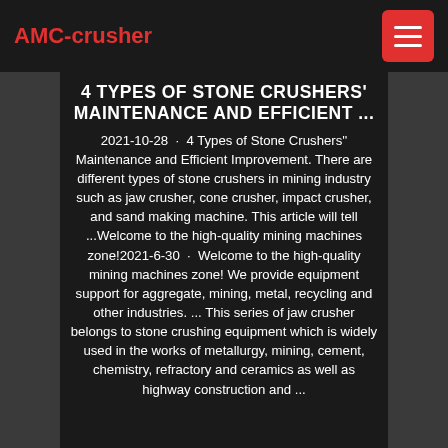AMC-crusher
4 TYPES OF STONE CRUSHERS' MAINTENANCE AND EFFICIENT ...
2021-10-28 · 4 Types of Stone Crushers'' Maintenance and Efficient Improvement. There are different types of stone crushers in mining industry such as jaw crusher, cone crusher, impact crusher, and sand making machine. This article will tell ...Welcome to the high-quality mining machines zone!2021-6-30 · Welcome to the high-quality mining machines zone! We provide equipment support for aggregate, mining, metal, recycling and other industries. ... This series of jaw crusher belongs to stone crushing equipment which is widely used in the works of metallurgy, mining, cement, chemistry, refractory and ceramics as well as highway construction and ...